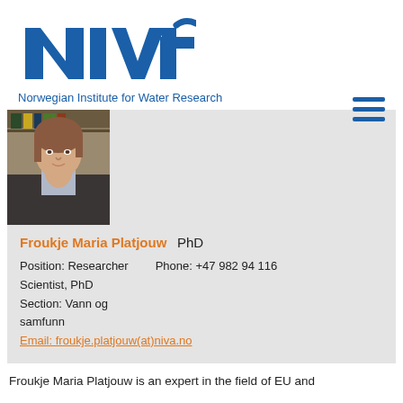[Figure (logo): NIVA logo — blue stylized letters NIVA with a wave/plus symbol]
Norwegian Institute for Water Research
[Figure (photo): Portrait photo of Froukje Maria Platjouw, a woman with brown hair pulled back, wearing a dark jacket, standing in front of bookshelves]
Froukje Maria Platjouw PhD
Position: Researcher Scientist, PhD
Phone: +47 982 94 116
Section: Vann og samfunn
Email: froukje.platjouw(at)niva.no
Froukje Maria Platjouw is an expert in the field of EU and